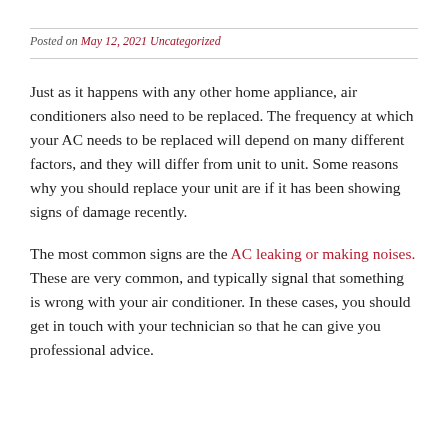Posted on May 12, 2021 Uncategorized
Just as it happens with any other home appliance, air conditioners also need to be replaced. The frequency at which your AC needs to be replaced will depend on many different factors, and they will differ from unit to unit. Some reasons why you should replace your unit are if it has been showing signs of damage recently.
The most common signs are the AC leaking or making noises. These are very common, and typically signal that something is wrong with your air conditioner. In these cases, you should get in touch with your technician so that he can give you professional advice.